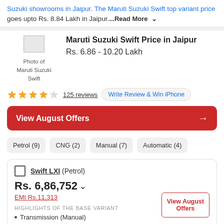Suzuki showrooms in Jaipur. The Maruti Suzuki Swift top variant price goes upto Rs. 8.84 Lakh in Jaipur. ...Read More
[Figure (photo): Photo of Maruti Suzuki Swift placeholder image]
Maruti Suzuki Swift Price in Jaipur
Rs. 6.86 - 10.20 Lakh
★★★★☆ 125 reviews   Write Review & Win iPhone
View August Offers →
Petrol (9)
CNG (2)
Manual (7)
Automatic (4)
Swift LXI (Petrol)
Rs. 6,86,752 ▾
EMI Rs.11,313
HIGHLIGHTS OF THE BASE VARIANT
• Transmission (Manual)
• Fabric Upholstery
View August Offers